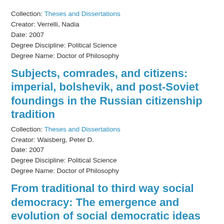Collection: Theses and Dissertations
Creator: Verrelli, Nadia
Date: 2007
Degree Discipline: Political Science
Degree Name: Doctor of Philosophy
Subjects, comrades, and citizens: imperial, bolshevik, and post-Soviet foundings in the Russian citizenship tradition
Collection: Theses and Dissertations
Creator: Waisberg, Peter D.
Date: 2007
Degree Discipline: Political Science
Degree Name: Doctor of Philosophy
From traditional to third way social democracy: The emergence and evolution of social democratic ideas and policies in Saskatchewan and Quebec in the 20th